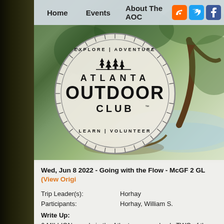Home  Events  About The AOC
[Figure (photo): Atlanta Outdoor Club logo on a nature/forest background hero image with trees and a creek. The circular logo reads: EXPLORE | ADVENTURE at top, ATLANTA in large letters, OUTDOOR in largest letters, CLUB with TM mark, LEARN | VOLUNTEER at bottom, with tree silhouettes.]
Wed, Jun 8 2022 - Going with the Flow - McGF 2 GL (View Origi...
Trip Leader(s): Horhay
Participants: Horhay, William S.
Write Up:
6 MILLION people in the Atlanta area and only TWO of those people (McGinnis Ferry & Gerrard's Landing) yesterday evening! There was Belted Kingfishers, Great Blue Herons (nesting and feeding), and a water for their young...it was epic to say the least...as late day fog r